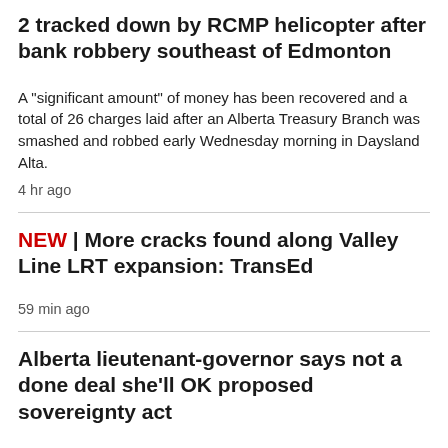2 tracked down by RCMP helicopter after bank robbery southeast of Edmonton
A "significant amount" of money has been recovered and a total of 26 charges laid after an Alberta Treasury Branch was smashed and robbed early Wednesday morning in Daysland Alta.
4 hr ago
NEW | More cracks found along Valley Line LRT expansion: TransEd
59 min ago
Alberta lieutenant-governor says not a done deal she'll OK proposed sovereignty act
3 hr ago
TORONTO >